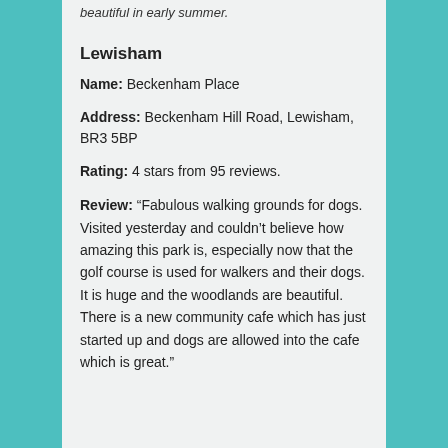beautiful in early summer.
Lewisham
Name: Beckenham Place
Address: Beckenham Hill Road, Lewisham, BR3 5BP
Rating: 4 stars from 95 reviews.
Review: “Fabulous walking grounds for dogs. Visited yesterday and couldn’t believe how amazing this park is, especially now that the golf course is used for walkers and their dogs. It is huge and the woodlands are beautiful. There is a new community cafe which has just started up and dogs are allowed into the cafe which is great.”